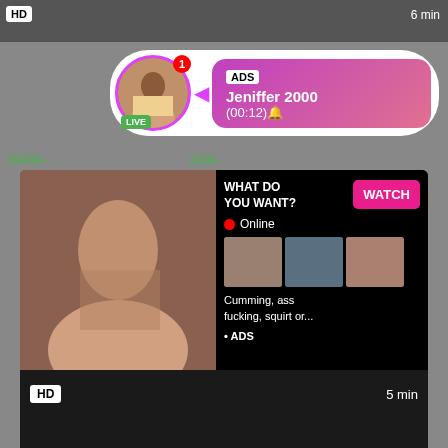[Figure (screenshot): Top video thumbnail strip with HD badge and 6 min duration]
[Figure (infographic): Notification popup with avatar, LIVE badge, ADS tag, name Jeniffer 2000, time (00:12)]
lesbia... sma...
[Figure (screenshot): Video ad card with WHAT DO YOU WANT? text, WATCH button, Online indicator, three thumbnails, text Cumming, ass fucking, squirt or... ADS, HD badge, 5 min duration]
Brunette Sub Fucking Hardcore Brunette
fucking, hardcore, brunette, rough, gagging, smalltits, bd...
[Figure (screenshot): Bottom dark video thumbnail]